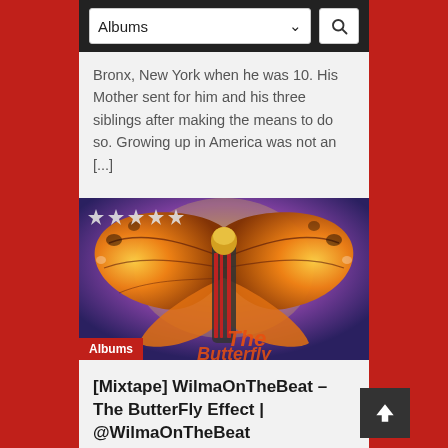Albums (dropdown) | Search
Bronx, New York when he was 10. His Mother sent for him and his three siblings after making the means to do so. Growing up in America was not an [...]
[Figure (photo): Album cover for WilmaOnTheBeat - The ButterFly Effect showing a person with large monarch butterfly wings with an 'Albums' badge and star rating overlay]
[Mixtape] WilmaOnTheBeat – The ButterFly Effect | @WilmaOnTheBeat